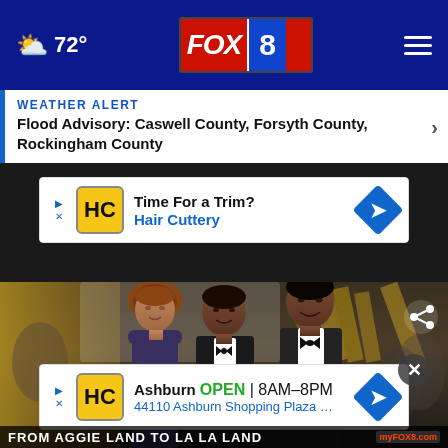72° FOX 8
WEATHER ALERT
Flood Advisory: Caswell County, Forsyth County, Rockingham County
[Figure (other): Hair Cuttery advertisement banner: Time For a Trim? Hair Cuttery]
[Figure (photo): Photo of three people in formal attire (tuxedos/evening wear) at what appears to be an awards ceremony red carpet event with gold geometric backdrop.]
[Figure (other): Hair Cuttery advertisement banner: Ashburn OPEN 8AM-8PM 44110 Ashburn Shopping Plaza ...]
FROM AGGIE LAND TO LA LA LAND